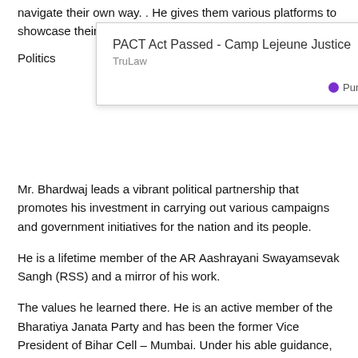navigate their own way. . He gives them various platforms to showcase their wo
Politics
[Figure (other): Ad popup overlay: 'PACT Act Passed - Camp Lejeune Justice' by TruLaw, with PurpleAds branding and close button (×)]
Mr. Bhardwaj leads a vibrant political partnership that promotes his investment in carrying out various campaigns and government initiatives for the nation and its people.
He is a lifetime member of the AR Aashrayani Swayamsevak Sangh (RSS) and a mirror of his work.
The values he learned there. He is an active member of the Bharatiya Janata Party and has been the former Vice President of Bihar Cell – Mumbai. Under his able guidance, countless widows, children, the disabled were benefited. For the last 20 years, they have helped and supported them by providing basic necessities like food, clothing, and education. There has been tremendous growth and development in the areas under him.
He is also working on the designation of the Swachh Bharat Abhiyan, the national executive member of the BJP and the convener of the government's initiative – Swachh Bharat Abhiyan for Uttar Pradesh.